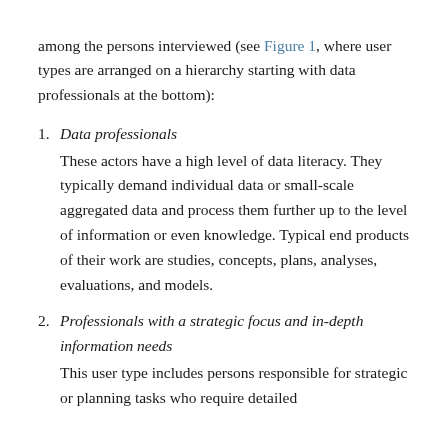among the persons interviewed (see Figure 1, where user types are arranged on a hierarchy starting with data professionals at the bottom):
1. Data professionals
These actors have a high level of data literacy. They typically demand individual data or small-scale aggregated data and process them further up to the level of information or even knowledge. Typical end products of their work are studies, concepts, plans, analyses, evaluations, and models.
2. Professionals with a strategic focus and in-depth information needs
This user type includes persons responsible for strategic or planning tasks who require detailed